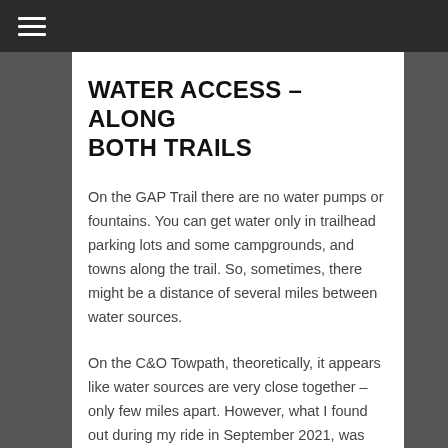≡
WATER ACCESS – ALONG BOTH TRAILS
On the GAP Trail there are no water pumps or fountains. You can get water only in trailhead parking lots and some campgrounds, and towns along the trail. So, sometimes, there might be a distance of several miles between water sources.
On the C&O Towpath, theoretically, it appears like water sources are very close together – only few miles apart. However, what I found out during my ride in September 2021, was quite different…